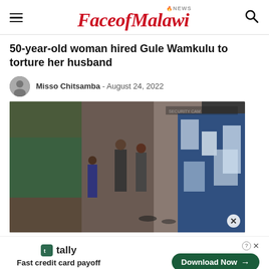FaceofMalawi NEWS
50-year-old woman hired Gule Wamkulu to torture her husband
Misso Chitsamba - August 24, 2022
[Figure (photo): CCTV footage showing people in a corridor, on the right side figures wearing blue and white patterned costumes (Gule Wamkulu traditional dancers)]
tally Fast credit card payoff Download Now